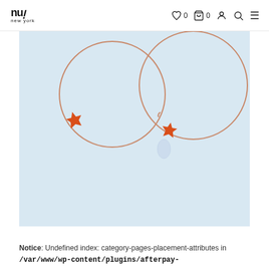nu new york — nav icons: heart 0, cart 0, account, search, menu
[Figure (photo): Two rose gold hoop earrings with orange enamel star charms on a light blue background. The left earring has only the star charm, while the right earring has a star charm and a small translucent stone drop.]
Notice: Undefined index: category-pages-placement-attributes in /var/www/wp-content/plugins/afterpay-